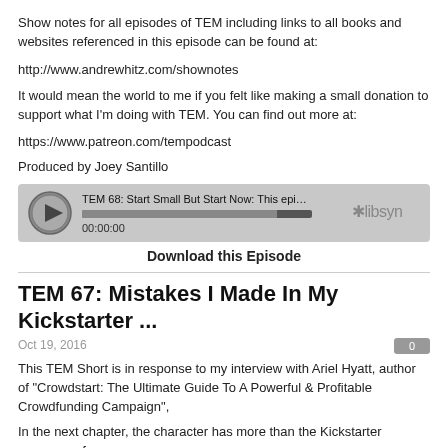Show notes for all episodes of TEM including links to all books and websites referenced in this episode can be found at:
http://www.andrewhitz.com/shownotes
It would mean the world to me if you felt like making a small donation to support what I'm doing with TEM. You can find out more at:
https://www.patreon.com/tempodcast
Produced by Joey Santillo
[Figure (screenshot): Libsyn audio player showing TEM 68: Start Small But Start Now episode, with play button, progress bar, and 00:00:00 timestamp]
Download this Episode
TEM 67: Mistakes I Made In My Kickstarter ...
Oct 19, 2016
This TEM Short is in response to my interview with Ariel Hyatt, author of "Crowdstart: The Ultimate Guide To A Powerful & Profitable Crowdfunding Campaign",
In the next chapter, the character has more than the Kickstarter summary of